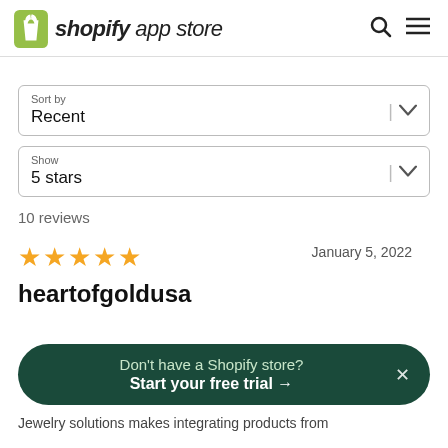shopify app store
Sort by
Recent
Show
5 stars
10 reviews
★★★★★  January 5, 2022
heartofgoldusa
Don't have a Shopify store? Start your free trial →
Jewelry solutions makes integrating products from